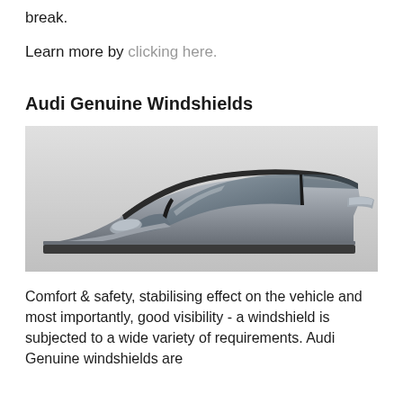break.
Learn more by clicking here.
Audi Genuine Windshields
[Figure (photo): Photo of an Audi sedan showing the windshield area from a front-side angle, with a light grey background.]
Comfort & safety, stabilising effect on the vehicle and most importantly, good visibility - a windshield is subjected to a wide variety of requirements. Audi Genuine windshields are